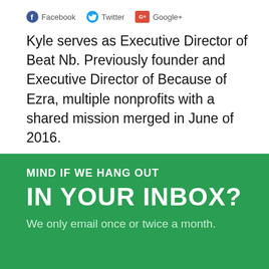Facebook  Twitter  Google+
Kyle serves as Executive Director of Beat Nb. Previously founder and Executive Director of Because of Ezra, multiple nonprofits with a shared mission merged in June of 2016.
MIND IF WE HANG OUT IN YOUR INBOX?
We only email once or twice a month.